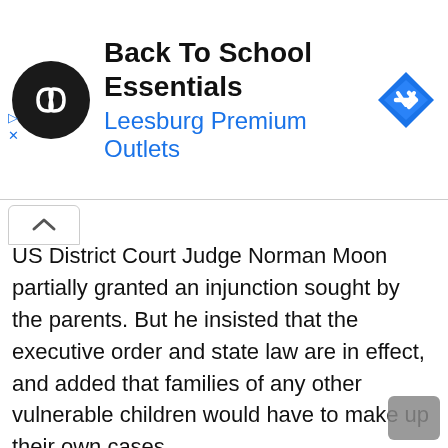[Figure (other): Advertisement banner for 'Back To School Essentials' at Leesburg Premium Outlets, with circular dark logo containing infinity-like symbol and a blue diamond navigation icon on the right.]
US District Court Judge Norman Moon partially granted an injunction sought by the parents. But he insisted that the executive order and state law are in effect, and added that families of any other vulnerable children would have to make up their own cases.
“This is not a class action, and the twelve plaintiffs in this case have no legal right to ask a court to deviate from the law of that state at any school in Virginia (very few school districts) their children do not attend.” are, or even those, areas of their schools where the plaintiff’s children do not atten...